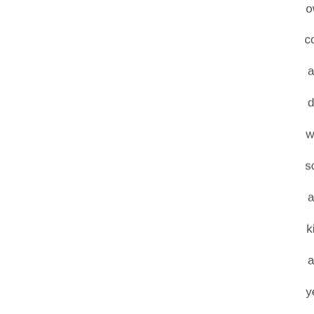ow
cor
an
de
wo
scr
an
kic
an
yel
tha
it
is
tot
off
do
no
se